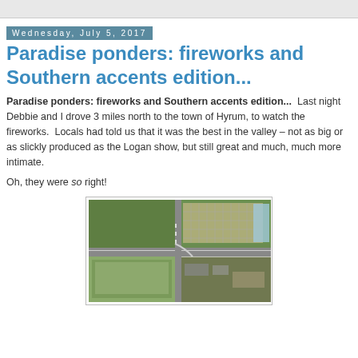Wednesday, July 5, 2017
Paradise ponders: fireworks and Southern accents edition...
Paradise ponders: fireworks and Southern accents edition...  Last night Debbie and I drove 3 miles north to the town of Hyrum, to watch the fireworks.  Locals had told us that it was the best in the valley – not as big or as slickly produced as the Logan show, but still great and much, much more intimate.
Oh, they were so right!
[Figure (map): Aerial satellite map view of a road intersection in Hyrum, Utah showing fields, parking areas, and buildings.]